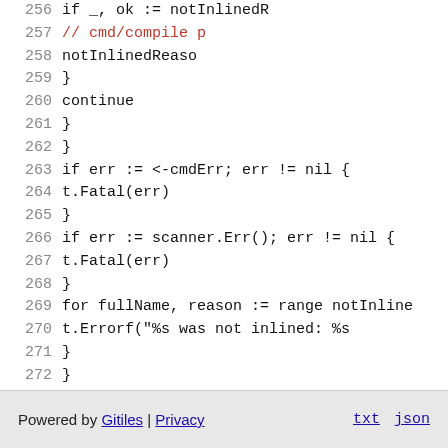[Figure (screenshot): Source code viewer showing Go code lines 256–272 with line numbers on the left. Line 257 contains a red comment '// cmd/compile p'. Other lines show control flow including if statements, continue, t.Fatal(err), and a for loop.]
Powered by Gitiles | Privacy    txt  json